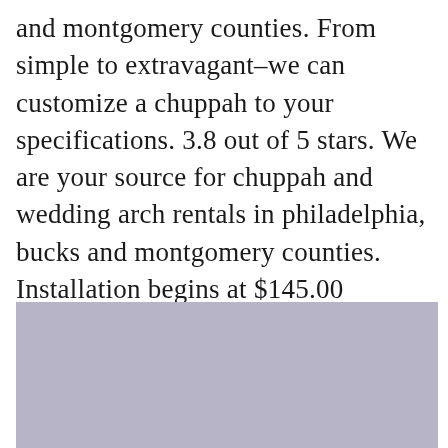and montgomery counties. From simple to extravagant–we can customize a chuppah to your specifications. 3.8 out of 5 stars. We are your source for chuppah and wedding arch rentals in philadelphia, bucks and montgomery counties. Installation begins at $145.00 (assembly moderately complex) decor begins at $150.00.
[Figure (photo): A partially visible photo with a muted lavender/purple-gray background color, likely showing a wedding setting or chuppah decoration.]